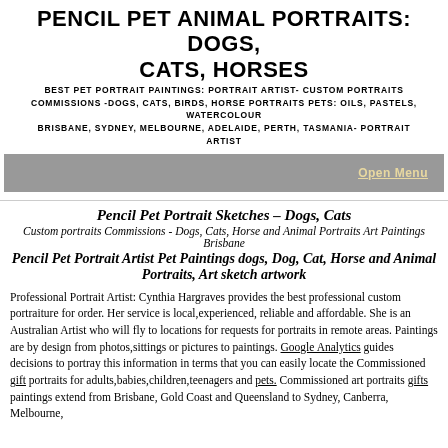PENCIL PET ANIMAL PORTRAITS: DOGS, CATS, HORSES
BEST PET PORTRAIT PAINTINGS: PORTRAIT ARTIST- CUSTOM PORTRAITS COMMISSIONS -DOGS, CATS, BIRDS, HORSE PORTRAITS PETS: OILS, PASTELS, WATERCOLOUR BRISBANE, SYDNEY, MELBOURNE, ADELAIDE, PERTH, TASMANIA- PORTRAIT ARTIST
OPEN MENU
Pencil Pet Portrait Sketches – Dogs, Cats
Custom portraits Commissions - Dogs, Cats, Horse and Animal Portraits Art Paintings Brisbane
Pencil Pet Portrait Artist Pet Paintings dogs, Dog, Cat, Horse and Animal Portraits, Art sketch artwork
Professional Portrait Artist: Cynthia Hargraves provides the best professional custom portraiture for order. Her service is local,experienced, reliable and affordable. She is an Australian Artist who will fly to locations for requests for portraits in remote areas. Paintings are by design from photos,sittings or pictures to paintings. Google Analytics guides decisions to portray this information in terms that you can easily locate the Commissioned gift portraits for adults,babies,children,teenagers and pets. Commissioned art portraits gifts paintings extend from Brisbane, Gold Coast and Queensland to Sydney, Canberra, Melbourne,